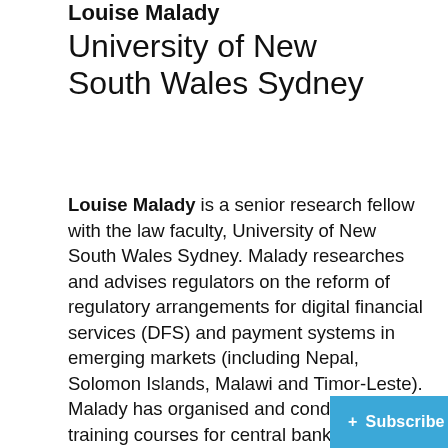Louise Malady
University of New South Wales Sydney
Louise Malady is a senior research fellow with the law faculty, University of New South Wales Sydney. Malady researches and advises regulators on the reform of regulatory arrangements for digital financial services (DFS) and payment systems in emerging markets (including Nepal, Solomon Islands, Malawi and Timor-Leste). Malady has organised and conducted training courses for central bank staff on regulating the use of agents in DFS and for industry and government stakeholders on DFS issues. Malady has worked with Singapore an
+ Subscribe To Our Newsletter